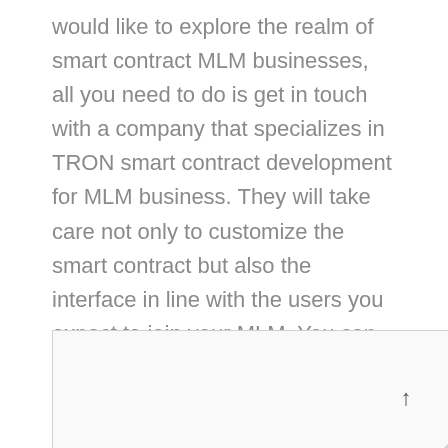would like to explore the realm of smart contract MLM businesses, all you need to do is get in touch with a company that specializes in TRON smart contract development for MLM business. They will take care not only to customize the smart contract but also the interface in line with the users you expect to join your MLM. You can enjoy all the benefits of the MLM business without having to worry about everyday troubles like transparency, human intervention errors, and fulfillment of payments.
[Figure (photo): Partial view of a person (woman with reddish-brown hair) shown from about shoulder level upward, cropped at the bottom of the page inside a bordered box.]